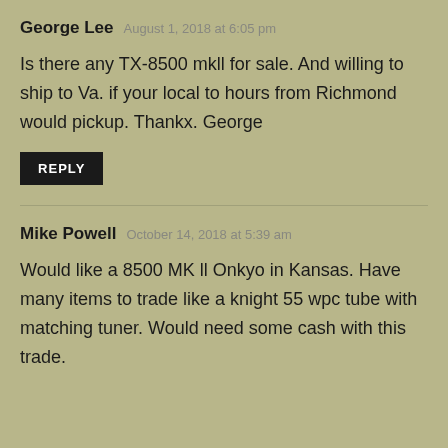George Lee  August 1, 2018 at 6:05 pm
Is there any TX-8500 mkll for sale. And willing to ship to Va. if your local to hours from Richmond would pickup. Thankx. George
REPLY
Mike Powell  October 14, 2018 at 5:39 am
Would like a 8500 MK ll Onkyo in Kansas. Have many items to trade like a knight 55 wpc tube with matching tuner. Would need some cash with this trade. Who for ddo W70 page into DEC CM200